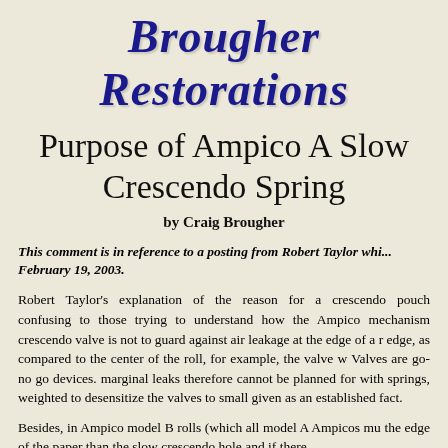Brougher Restorations
Purpose of Ampico A Slow Crescendo Spring
by Craig Brougher
This comment is in reference to a posting from Robert Taylor whi... February 19, 2003.
Robert Taylor's explanation of the reason for a crescendo pouch... confusing to those trying to understand how the Ampico mechanism... crescendo valve is not to guard against air leakage at the edge of a r... edge, as compared to the center of the roll, for example, the valve w... Valves are go-no go devices. marginal leaks therefore cannot be... planned for with springs, weighted to desensitize the valves to small... given as an established fact.
Besides, in Ampico model B rolls (which all model A Ampicos mu... the edge of the paper than the slow crescendo hole and if there...